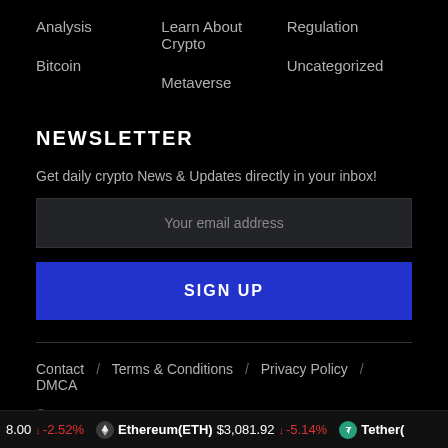Analysis
Bitcoin
Learn About Crypto
Metaverse
Regulation
Uncategorized
NEWSLETTER
Get daily crypto News & Updates directly in your inbox!
Your email address
SIGN UP
Contact / Terms & Conditions / Privacy Policy / DMCA
© 2022 All rights reserved.
8.00 ↓ -2.52% Ethereum(ETH) $3,081.92 ↓ -5.14% Tether(